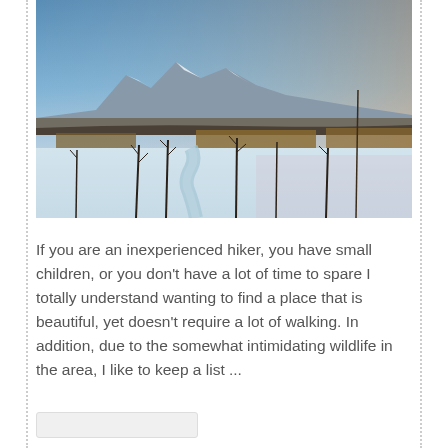[Figure (photo): Winter landscape photograph showing a snowy wetland scene with a frozen or partially frozen waterway winding through reeds and grasses, bare trees in the foreground, snow-covered mountains in the background, and a sunrise or sunset sky in shades of blue, peach, and orange.]
If you are an inexperienced hiker, you have small children, or you don't have a lot of time to spare I totally understand wanting to find a place that is beautiful, yet doesn't require a lot of walking. In addition, due to the somewhat intimidating wildlife in the area, I like to keep a list ...